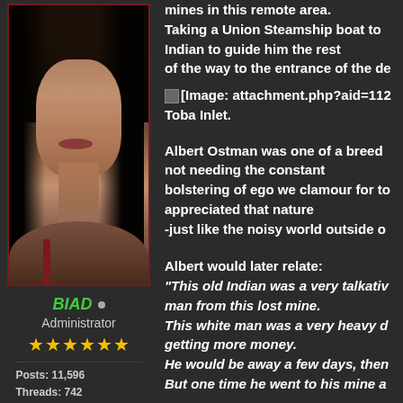[Figure (illustration): Dark fantasy illustration of a gaunt pale figure with long black hair, appearing to be a woman or feminine character with a very thin neck and face, wearing a dark outfit with a red strap. The image has a painted/digital art style against a dark background.]
BIAD • Administrator ★★★★★★ Posts: 11,596 Threads: 742 Joined: May 2016 Reputation: 38,046
mines in this remote area.
Taking a Union Steamship boat to [cut off]
Indian to guide him the rest
of the way to the entrance of the de[cut off]
[Figure (other): [Image: attachment.php?aid=112...] Toba Inlet.]
Albert Ostman was one of a breed [cut off]
not needing the constant
bolstering of ego we clamour for to[cut off]
appreciated that nature
-just like the noisy world outside o[cut off]
Albert would later relate:
"This old Indian was a very talkative [cut off]
man from this lost mine.
This white man was a very heavy d[cut off]
getting more money.
He would be away a few days, then[cut off]
But one time he went to his mine a[cut off]
At that time I had never heard of Sa[cut off]